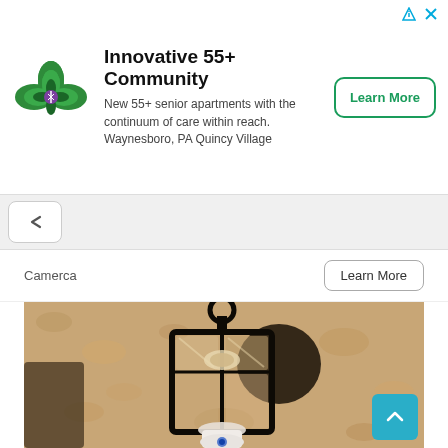[Figure (infographic): Advertisement banner for Innovative 55+ Community with green flower logo, text about senior apartments in Waynesboro, PA Quincy Village, and a green-bordered Learn More button]
[Figure (screenshot): Browser tab bar area showing a back/up chevron button in a white rounded box on a light gray background]
Camerca
[Figure (photo): Sepia-toned photo of an outdoor wall lantern light fixture mounted on a textured stucco wall, with a white smart security camera bulb installed in the lantern socket]